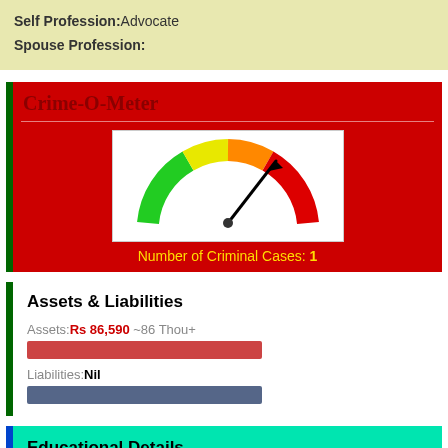Self Profession:Advocate
Spouse Profession:
Crime-O-Meter
[Figure (other): Gauge/meter graphic showing a speedometer-style dial with green to red arc. The needle points toward the high/red end indicating criminal cases.]
Number of Criminal Cases: 1
Assets & Liabilities
Assets:Rs 86,590 ~86 Thou+
Liabilities:Nil
Educational Details